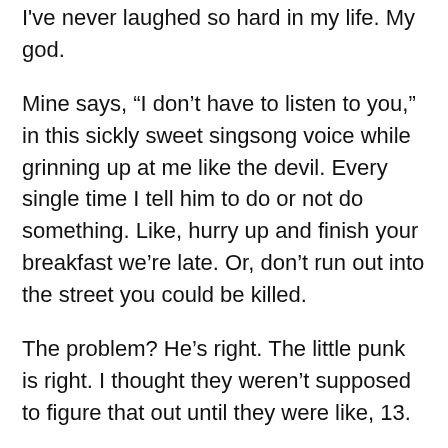I've never laughed so hard in my life. My god.
Mine says, “I don’t have to listen to you,” in this sickly sweet singsong voice while grinning up at me like the devil. Every single time I tell him to do or not do something. Like, hurry up and finish your breakfast we’re late. Or, don’t run out into the street you could be killed.
The problem? He’s right. The little punk is right. I thought they weren’t supposed to figure that out until they were like, 13.
Reply